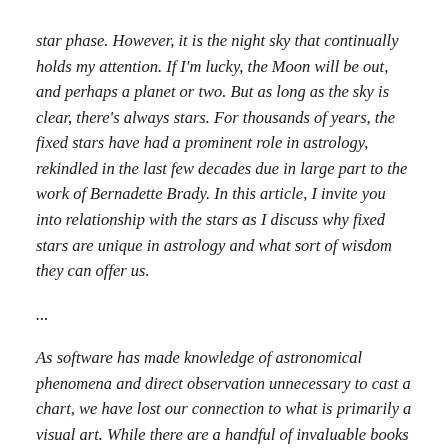star phase. However, it is the night sky that continually holds my attention. If I'm lucky, the Moon will be out, and perhaps a planet or two. But as long as the sky is clear, there's always stars. For thousands of years, the fixed stars have had a prominent role in astrology, rekindled in the last few decades due in large part to the work of Bernadette Brady. In this article, I invite you into relationship with the stars as I discuss why fixed stars are unique in astrology and what sort of wisdom they can offer us.
...
As software has made knowledge of astronomical phenomena and direct observation unnecessary to cast a chart, we have lost our connection to what is primarily a visual art. While there are a handful of invaluable books and resources about the meaning of the fixed stars, I